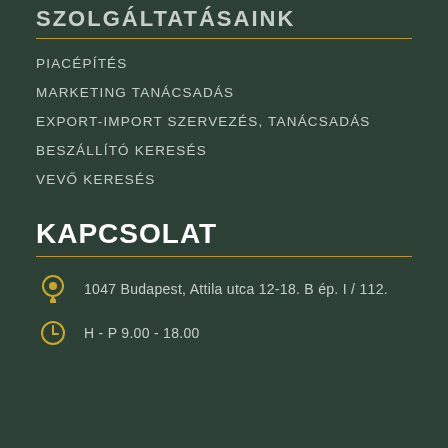SZOLGÁLTATÁSAINK
PIACÉPÍTÉS
MARKETING TANÁCSADÁS
EXPORT-IMPORT SZERVEZÉS, TANÁCSADÁS
BESZÁLLÍTÓ KERESÉS
VEVŐ KERESÉS
KAPCSOLAT
1047 Budapest, Attila utca 12-18. B ép. I / 112.
H - P 9.00 - 18.00